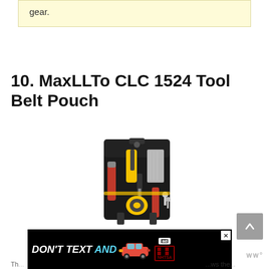gear.
10. MaxLLTo CLC 1524 Tool Belt Pouch
[Figure (photo): MaxLLTo CLC 1524 Tool Belt Pouch - black tool pouch filled with various tools including pliers, screwdrivers, flashlight, and tape measure]
[Figure (other): Orange rounded rectangle button with thumbs-up icon and text 'View on Amazon']
[Figure (other): Advertisement banner: DON'T TEXT AND [car image] ad/NHTSA logo with close button]
Th...ws the...